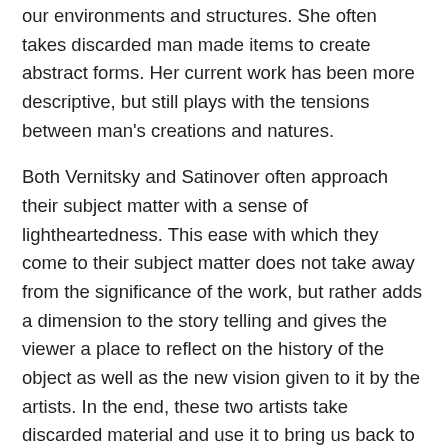our environments and structures. She often takes discarded man made items to create abstract forms. Her current work has been more descriptive, but still plays with the tensions between man's creations and natures.
Both Vernitsky and Satinover often approach their subject matter with a sense of lightheartedness. This ease with which they come to their subject matter does not take away from the significance of the work, but rather adds a dimension to the story telling and gives the viewer a place to reflect on the history of the object as well as the new vision given to it by the artists. In the end, these two artists take discarded material and use it to bring us back to ourselves and reflect on our humanity and our connections to our surroundings and each other.
Join them in celebrating this journey at the opening reception Friday, July 12th from 5-7pm. For a more in